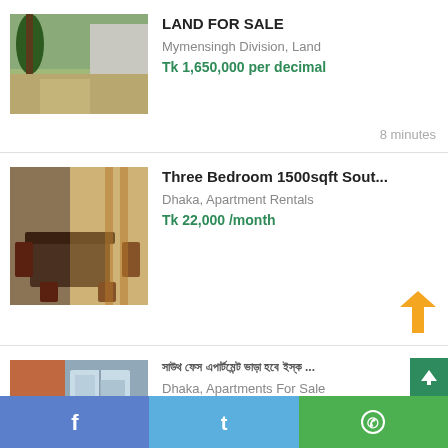[Figure (photo): Outdoor land photo with trees and a wall]
LAND FOR SALE
Mymensingh Division, Land
Tk 1,650,000 per decimal
8 minutes
[Figure (photo): Indoor dining room with table and chairs]
Three Bedroom 1500sqft Sout...
Dhaka, Apartment Rentals
Tk 22,000 /month
[Figure (photo): Indoor apartment room with window view]
সাউথ ফেস এপার্টমেন্ট ভাড়া হবে ইস্ক ...
Dhaka, Apartments For Sale
Tk 8,000 per sqft
9 minutes